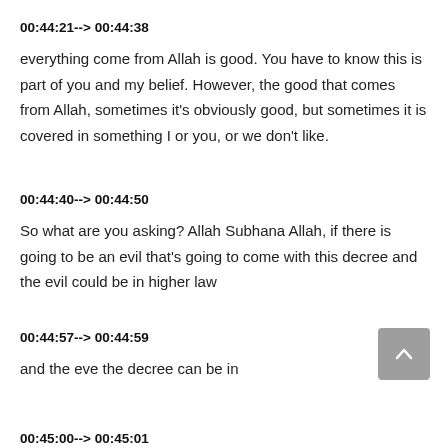00:44:21--> 00:44:38
everything come from Allah is good. You have to know this is part of you and my belief. However, the good that comes from Allah, sometimes it's obviously good, but sometimes it is covered in something I or you, or we don't like.
00:44:40--> 00:44:50
So what are you asking? Allah Subhana Allah, if there is going to be an evil that's going to come with this decree and the evil could be in higher law
00:44:57--> 00:44:59
and the eve the decree can be in
00:45:00--> 00:45:01